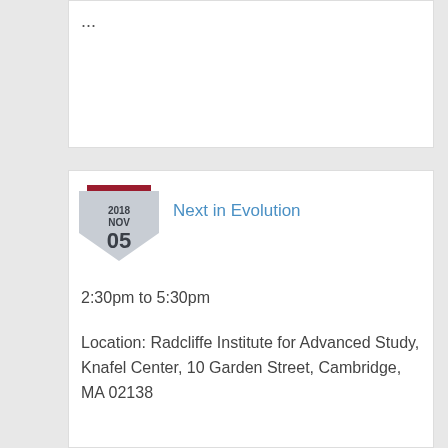...
Next in Evolution
2:30pm to 5:30pm
Location: Radcliffe Institute for Advanced Study, Knafel Center, 10 Garden Street, Cambridge, MA 02138
The Next in Science series provides an opportunity for early-career scientists whose creative, cross-disciplinary research is thematically linked to introduce their work to